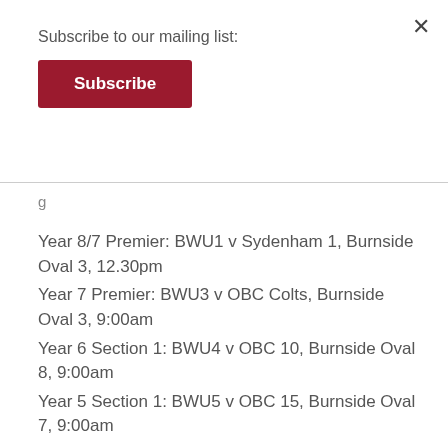Subscribe to our mailing list:
Subscribe
Year 8/7 Premier: BWU1 v Sydenham 1, Burnside Oval 3, 12.30pm
Year 7 Premier: BWU3 v OBC Colts, Burnside Oval 3, 9:00am
Year 6 Section 1: BWU4 v OBC 10, Burnside Oval 8, 9:00am
Year 5 Section 1: BWU5 v OBC 15, Burnside Oval 7, 9:00am
Year 5 Super 8 Section 2: BWU6 v BWU7, Burnside Oval 6, 9:00am